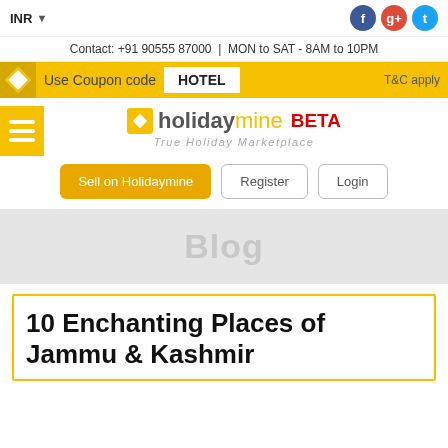INR ▼ | Contact: +91 90555 87000 | MON to SAT - 8AM to 10PM
Use Coupon code HOTEL T&C apply
[Figure (logo): holidaymine BETA logo with tagline True Holiday Marketplace]
Sell on Holidaymine | Register | Login
Blog
10 Enchanting Places of Jammu & Kashmir